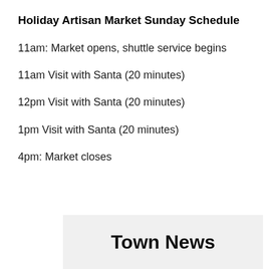Holiday Artisan Market Sunday Schedule
11am: Market opens, shuttle service begins
11am Visit with Santa (20 minutes)
12pm Visit with Santa (20 minutes)
1pm Visit with Santa (20 minutes)
4pm: Market closes
Town News